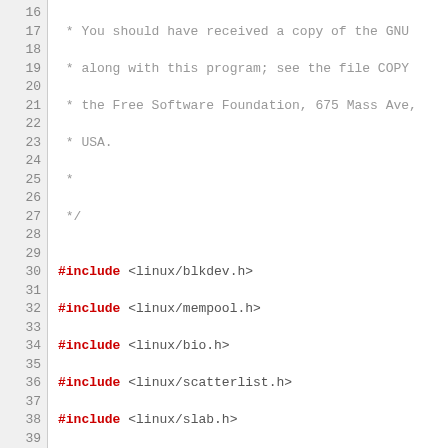Source code listing, lines 16–42, showing GNU license comment, includes, and function declaration for blk_rq_count_integrity_sg